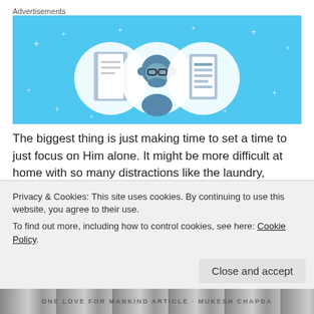Advertisements
[Figure (illustration): Advertisement banner with light blue background showing three circular icons: a door/notebook icon on the left, a person with glasses icon in the center, and a list/document icon on the right, with small sparkle/star decorations scattered around.]
The biggest thing is just making time to set a time to just focus on Him alone. It might be more difficult at home with so many distractions like the laundry, dishes, the kiddo's needing you for things, etc. Distractions happen. Maybe you can make these times a Family Time with God. All of you watch the Sermon
Privacy & Cookies: This site uses cookies. By continuing to use this website, you agree to their use.
To find out more, including how to control cookies, see here: Cookie Policy
Close and accept